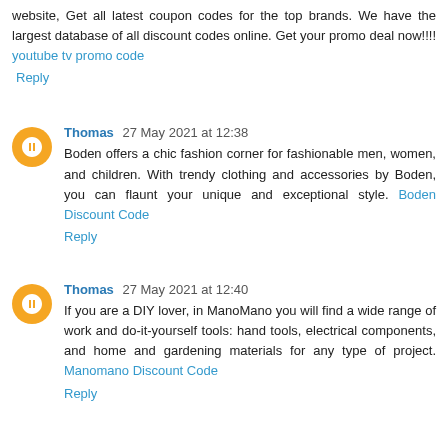website, Get all latest coupon codes for the top brands. We have the largest database of all discount codes online. Get your promo deal now!!!! youtube tv promo code
Reply
Thomas 27 May 2021 at 12:38
Boden offers a chic fashion corner for fashionable men, women, and children. With trendy clothing and accessories by Boden, you can flaunt your unique and exceptional style. Boden Discount Code
Reply
Thomas 27 May 2021 at 12:40
If you are a DIY lover, in ManoMano you will find a wide range of work and do-it-yourself tools: hand tools, electrical components, and home and gardening materials for any type of project. Manomano Discount Code
Reply